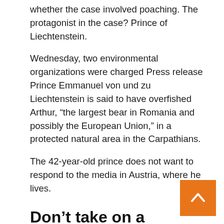whether the case involved poaching. The protagonist in the case? Prince of Liechtenstein.
Wednesday, two environmental organizations were charged Press release Prince Emmanuel von und zu Liechtenstein is said to have overfished Arthur, “the largest bear in Romania and possibly the European Union,” in a protected natural area in the Carpathians.
The 42-year-old prince does not want to respond to the media in Austria, where he lives.
Don’t take on a problem